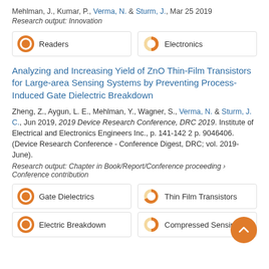Mehlman, J., Kumar, P., Verma, N. & Sturm, J., Mar 25 2019
Research output: Innovation
[Figure (infographic): Two badge boxes: one showing a donut/ring icon (orange full circle) with 'Readers', another showing a half-filled orange donut with 'Electronics']
Analyzing and Increasing Yield of ZnO Thin-Film Transistors for Large-area Sensing Systems by Preventing Process-Induced Gate Dielectric Breakdown
Zheng, Z., Aygun, L. E., Mehlman, Y., Wagner, S., Verma, N. & Sturm, J. C., Jun 2019, 2019 Device Research Conference, DRC 2019. Institute of Electrical and Electronics Engineers Inc., p. 141-142 2 p. 9046406. (Device Research Conference - Conference Digest, DRC; vol. 2019-June).
Research output: Chapter in Book/Report/Conference proceeding › Conference contribution
[Figure (infographic): Four badge boxes in 2x2 grid: Gate Dielectrics (full orange circle), Thin Film Transistors (75% filled orange donut), Electric Breakdown (full orange circle), Compressed Sensing (half filled orange donut). Orange scroll-to-top button overlapping bottom right.]